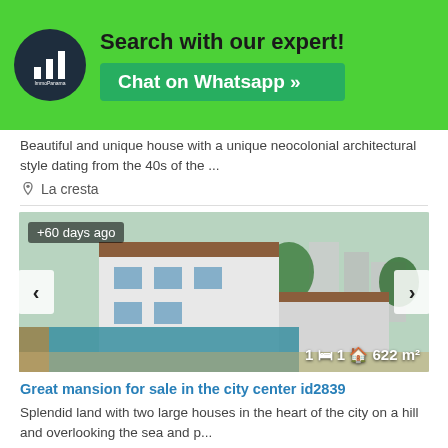[Figure (logo): ImmoPanama logo – dark navy circle with white bar chart icon]
Search with our expert!
Chat on Whatsapp »
Beautiful and unique house with a unique neocolonial architectural style dating from the 40s of the ...
La cresta
[Figure (photo): Exterior of a large white two-story mansion with pool in foreground and city buildings in background. Badge: +60 days ago. Stats: 1 bed, 1 bath, 622 m²]
Great mansion for sale in the city center id2839
Splendid land with two large houses in the heart of the city on a hill and overlooking the sea and p...
La cresta
[Figure (photo): Partially visible photo of another property listing. Badge: +60 days ago]